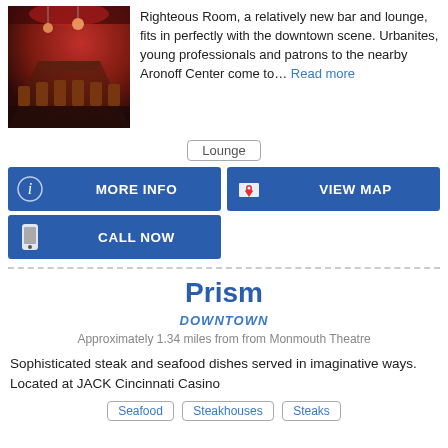[Figure (photo): Interior of Righteous Room bar and lounge with red lighting and bar seating]
Righteous Room, a relatively new bar and lounge, fits in perfectly with the downtown scene. Urbanites, young professionals and patrons to the nearby Aronoff Center come to… Read more
Lounge
MORE INFO
VIEW MAP
CALL NOW
Prism
DOWNTOWN
Approximately 1.34 miles from from Monmouth Theatre
Sophisticated steak and seafood dishes served in imaginative ways. Located at JACK Cincinnati Casino
Seafood   Steakhouses   Steaks